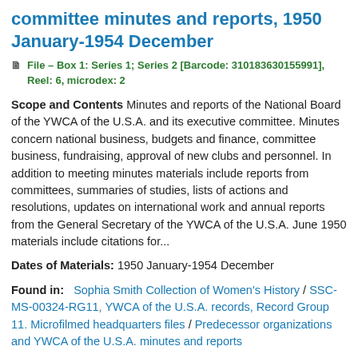committee minutes and reports, 1950 January-1954 December
File – Box 1: Series 1; Series 2 [Barcode: 310183630155991], Reel: 6, microdex: 2
Scope and Contents Minutes and reports of the National Board of the YWCA of the U.S.A. and its executive committee. Minutes concern national business, budgets and finance, committee business, fundraising, approval of new clubs and personnel. In addition to meeting minutes materials include reports from committees, summaries of studies, lists of actions and resolutions, updates on international work and annual reports from the General Secretary of the YWCA of the U.S.A. June 1950 materials include citations for...
Dates of Materials: 1950 January-1954 December
Found in: Sophia Smith Collection of Women's History / SSC-MS-00324-RG11, YWCA of the U.S.A. records, Record Group 11. Microfilmed headquarters files / Predecessor organizations and YWCA of the U.S.A. minutes and reports